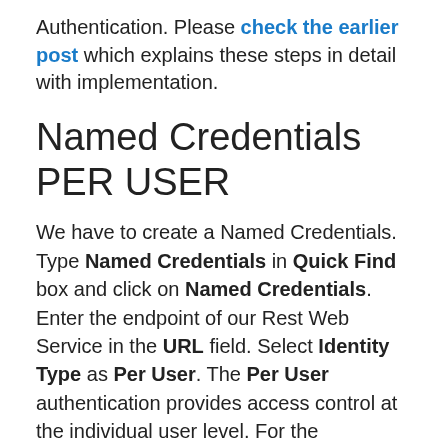Authentication. Please check the earlier post which explains these steps in detail with implementation.
Named Credentials PER USER
We have to create a Named Credentials. Type Named Credentials in Quick Find box and click on Named Credentials. Enter the endpoint of our Rest Web Service in the URL field. Select Identity Type as Per User. The Per User authentication provides access control at the individual user level. For the Authentication Protocol,